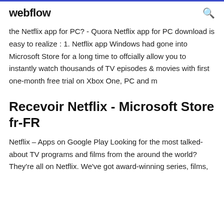webflow
the Netflix app for PC? - Quora Netflix app for PC download is easy to realize : 1. Netflix app Windows had gone into Microsoft Store for a long time to offcially allow you to instantly watch thousands of TV episodes & movies with first one-month free trial on Xbox One, PC and m
Recevoir Netflix - Microsoft Store fr-FR
Netflix – Apps on Google Play Looking for the most talked-about TV programs and films from the around the world? They're all on Netflix. We've got award-winning series, films,